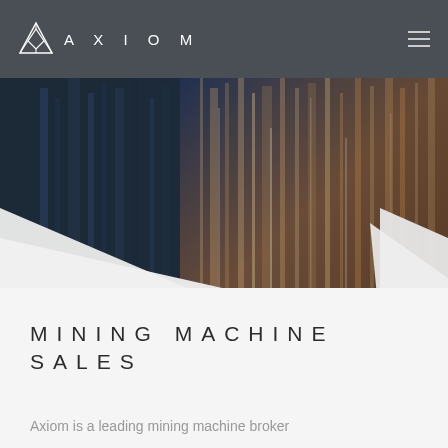AXIOM
[Figure (photo): Abstract blurred cityscape/building facade photo with diagonal white geometric overlay shapes creating a layered composition. The background shows a dark blue and amber-toned blurred architectural image.]
MINING MACHINE SALES
Axiom is a leading mining machine broker